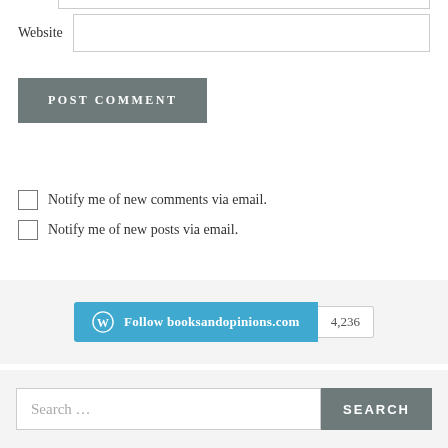Website
POST COMMENT
Notify me of new comments via email.
Notify me of new posts via email.
[Figure (screenshot): WordPress Follow button widget showing 'Follow booksandopinions.com' in blue with follower count badge showing 4,236]
Search ...
SEARCH